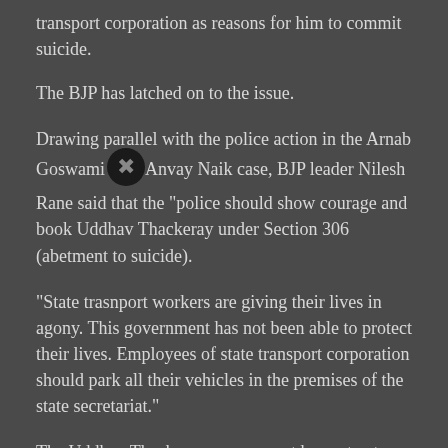transport corporation as reasons for him to commit suicide.
The BJP has latched on to the issue.
Drawing parallel with the police action in the Arnab Goswami-Anvay Naik case, BJP leader Nilesh Rane said that the "police should show courage and book Uddhav Thackeray under Section 306 (abetment to suicide).
"State trasnport workers are giving their lives in agony. This government has not been able to protect their lives. Employees of state transport corporation should park all their vehicles in the premises of the state secretariat."
The Uddhav Thackeray government has not yet responded to the BJP's charges.